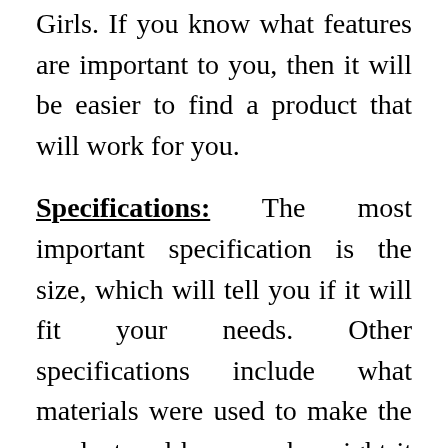Girls. If you know what features are important to you, then it will be easier to find a product that will work for you.
Specifications: The most important specification is the size, which will tell you if it will fit your needs. Other specifications include what materials were used to make the product and how much weight it can hold.
Customer Reviews: It's important to read what other people have to say about the product you're thinking of buying. A lot of people have experience